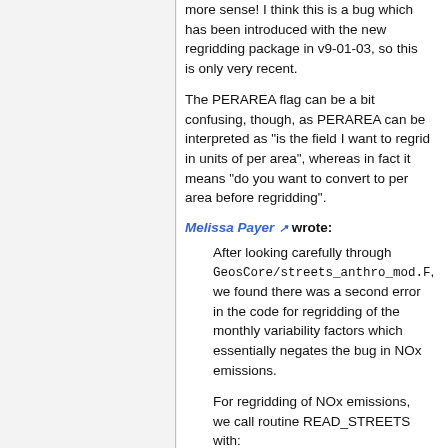more sense! I think this is a bug which has been introduced with the new regridding package in v9-01-03, so this is only very recent.
The PERAREA flag can be a bit confusing, though, as PERAREA can be interpreted as "is the field I want to regrid in units of per area", whereas in fact it means "do you want to convert to per area before regridding".
Melissa Payer wrote:
After looking carefully through GeosCore/streets_anthro_mod.F, we found there was a second error in the code for regridding of the monthly variability factors which essentially negates the bug in NOx emissions.
For regridding of NOx emissions, we call routine READ_STREETS with: